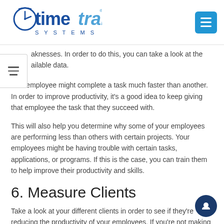[Figure (logo): TimeTrak Systems logo — clock icon with 'timetrak' wordmark in blue and 'SYSTEMS' in spaced caps below]
aknesses. In order to do this, you can take a look at the ailable data.
One employee might complete a task much faster than another. In order to improve productivity, it's a good idea to keep giving that employee the task that they succeed with.
This will also help you determine why some of your employees are performing less than others with certain projects. Your employees might be having trouble with certain tasks, applications, or programs. If this is the case, you can train them to help improve their productivity and skills.
6. Measure Clients
Take a look at your different clients in order to see if they're reducing the productivity of your employees. If you're not making